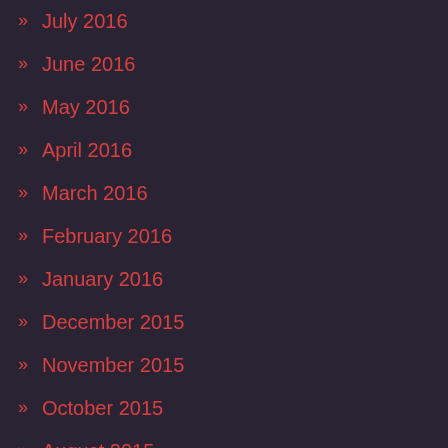» July 2016
» June 2016
» May 2016
» April 2016
» March 2016
» February 2016
» January 2016
» December 2015
» November 2015
» October 2015
» August 2015
RECENT COMMENTS